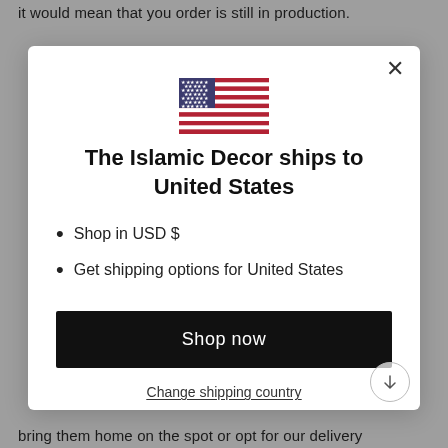it would mean that you order is still in production.
[Figure (screenshot): A modal dialog box on a website showing a US flag, title 'The Islamic Decor ships to United States', bullet points about USD and shipping options, a 'Shop now' black button, and a 'Change shipping country' underlined link. A close (X) button is in the top right corner.]
bring them home on the spot or opt for our delivery